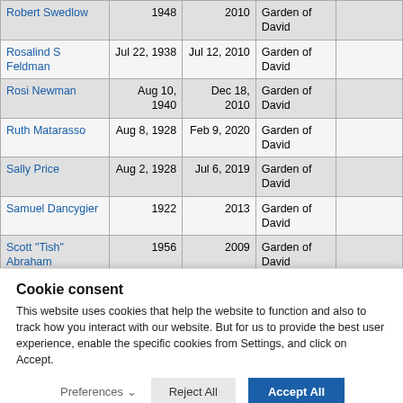| Name | Born | Died | Location | Notes |
| --- | --- | --- | --- | --- |
| Robert Swedlow | 1948 | 2010 | Garden of David |  |
| Rosalind S Feldman | Jul 22, 1938 | Jul 12, 2010 | Garden of David |  |
| Rosi Newman | Aug 10, 1940 | Dec 18, 2010 | Garden of David |  |
| Ruth Matarasso | Aug 8, 1928 | Feb 9, 2020 | Garden of David |  |
| Sally Price | Aug 2, 1928 | Jul 6, 2019 | Garden of David |  |
| Samuel Dancygier | 1922 | 2013 | Garden of David |  |
| Scott "Tish" Abraham | 1956 | 2009 | Garden of David |  |
| Scott Hertz | 1956 | 2012 | Garden of | Scooter - Uncle |
Cookie consent
This website uses cookies that help the website to function and also to track how you interact with our website. But for us to provide the best user experience, enable the specific cookies from Settings, and click on Accept.